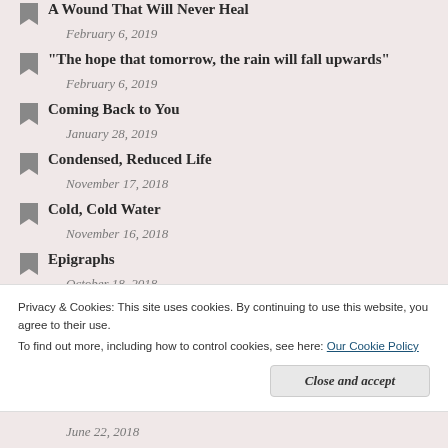A Wound That Will Never Heal
February 6, 2019
“The hope that tomorrow, the rain will fall upwards”
February 6, 2019
Coming Back to You
January 28, 2019
Condensed, Reduced Life
November 17, 2018
Cold, Cold Water
November 16, 2018
Epigraphs
October 18, 2018
Our Brother
Privacy & Cookies: This site uses cookies. By continuing to use this website, you agree to their use.
To find out more, including how to control cookies, see here: Our Cookie Policy
June 22, 2018